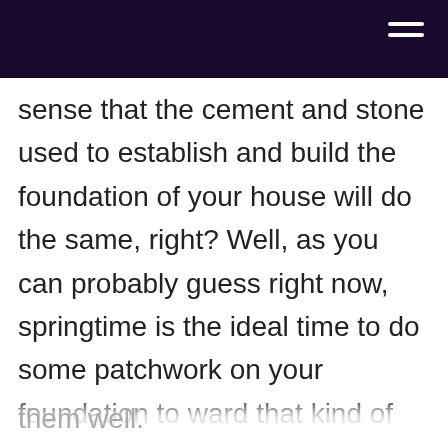sense that the cement and stone used to establish and build the foundation of your house will do the same, right? Well, as you can probably guess right now, springtime is the ideal time to do some patchwork on your foundation to ward that kind of annual weather damage off as well. Quinju guides you through the process of recognizing foundation issues and also how to fix them well.